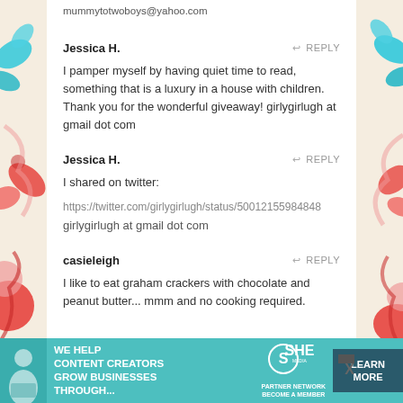mummytotwoboys@yahoo.com
Jessica H.
I pamper myself by having quiet time to read, something that is a luxury in a house with children. Thank you for the wonderful giveaway! girlygirlugh at gmail dot com
Jessica H.
I shared on twitter:
https://twitter.com/girlygirlugh/status/50012155984848
girlygirlugh at gmail dot com
casieleigh
I like to eat graham crackers with chocolate and peanut butter... mmm and no cooking required.
[Figure (infographic): Teal advertisement banner: WE HELP CONTENT CREATORS GROW BUSINESSES THROUGH... with SHE Media Partner Network logo and LEARN MORE button]